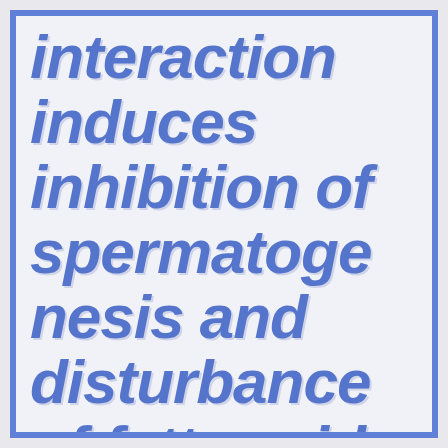interaction induces inhibition of spermatogenesis and disturbance of fatty acid metabolism in the